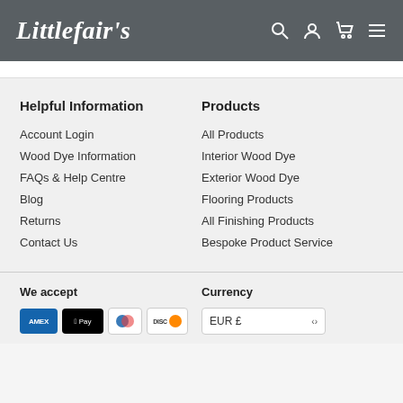Littlefair's
Helpful Information
Account Login
Wood Dye Information
FAQs & Help Centre
Blog
Returns
Contact Us
Products
All Products
Interior Wood Dye
Exterior Wood Dye
Flooring Products
All Finishing Products
Bespoke Product Service
We accept
Currency
EUR £